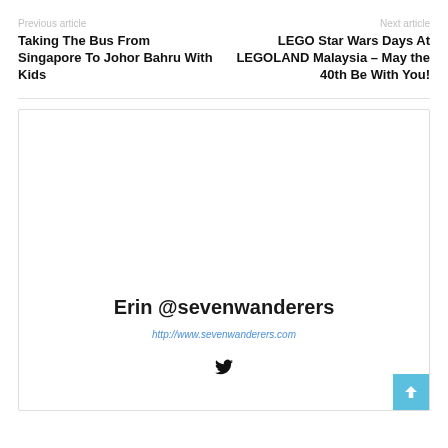Previous article
Next article
Taking The Bus From Singapore To Johor Bahru With Kids
LEGO Star Wars Days At LEGOLAND Malaysia – May the 40th Be With You!
Erin @sevenwanderers
http://www.sevenwanderers.com